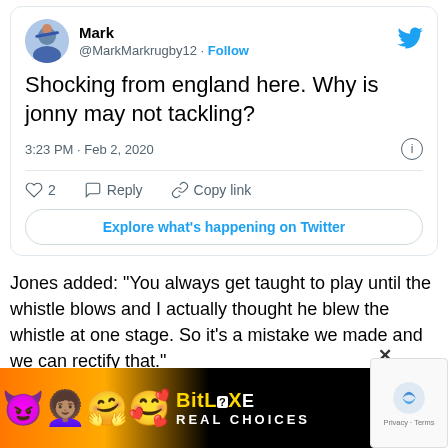[Figure (screenshot): Tweet from @MarkMarkrugby12 saying 'Shocking from england here. Why is jonny may not tackling?' posted at 3:23 PM Feb 2, 2020 with 2 likes, reply and copy link options, and Explore what's happening on Twitter button]
Jones added: “You always get taught to play until the whistle blows and I actually thought he blew the whistle at one stage. So it’s a mistake we made and we can rectify that.”
Jones also jumped to defend number eight Tom Curry, positio...